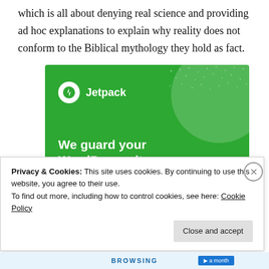which is all about denying real science and providing ad hoc explanations to explain why reality does not conform to the Biblical mythology they hold as fact.
[Figure (screenshot): Jetpack advertisement banner with green background showing 'We guard your WordPress site. You run your business.' with a 'Secure Your Site' button]
Privacy & Cookies: This site uses cookies. By continuing to use this website, you agree to their use.
To find out more, including how to control cookies, see here: Cookie Policy
Close and accept